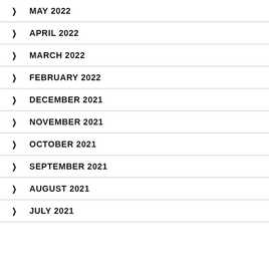MAY 2022
APRIL 2022
MARCH 2022
FEBRUARY 2022
DECEMBER 2021
NOVEMBER 2021
OCTOBER 2021
SEPTEMBER 2021
AUGUST 2021
JULY 2021